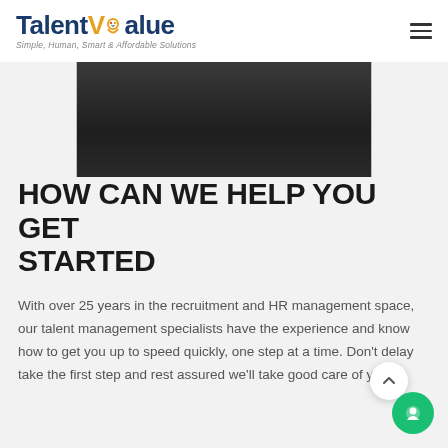TalentValue — Simple, Human, Smart & Affordable Solutions
[Figure (photo): Dark suit fabric / clothing detail, cropped photo showing lower torso area of dark business attire against dark background]
HOW CAN WE HELP YOU GET STARTED
With over 25 years in the recruitment and HR management space, our talent management specialists have the experience and know how to get you up to speed quickly, one step at a time. Don't delay take the first step and rest assured we'll take good care of you.